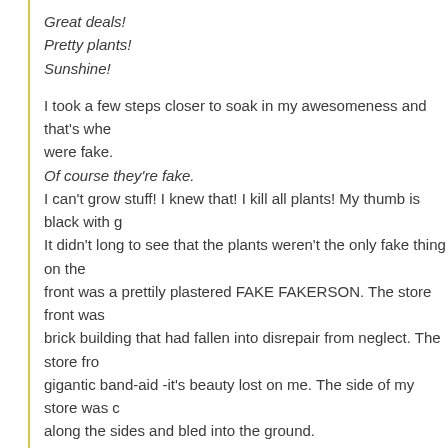Great deals!
Pretty plants!
Sunshine!
I took a few steps closer to soak in my awesomeness and that's whe were fake. Of course they're fake. I can't grow stuff! I knew that! I kill all plants! My thumb is black with g It didn't long to see that the plants weren't the only fake thing on the front was a prettily plastered FAKE FAKERSON. The store front was brick building that had fallen into disrepair from neglect. The store fro gigantic band-aid -it's beauty lost on me. The side of my store was c along the sides and bled into the ground.
I peered through the windows and found -instead of the insides of my Each window was, in fact, a mirror. The mirrors were cloudy and dus and blew my breath onto them and polished them with my sleeve. My reflection became clearer and clearer, and I began to see that I w controlling. I was more powerful than I imagined -more opinionated th I was sensitive and I felt everything that came my way. My life was a absorption -I heard everything, felt everything, smelled everything, re